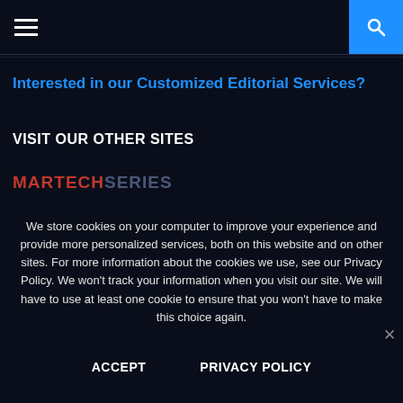Navigation bar with hamburger menu and search button
Interested in our Customized Editorial Services?
VISIT OUR OTHER SITES
[Figure (logo): MARTECHSERIES logo with MARTECH in red and SERIES in dark blue-grey]
We store cookies on your computer to improve your experience and provide more personalized services, both on this website and on other sites. For more information about the cookies we use, see our Privacy Policy. We won't track your information when you visit our site. We will have to use at least one cookie to ensure that you won't have to make this choice again.
ACCEPT    PRIVACY POLICY